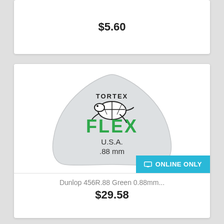$5.60
[Figure (photo): Dunlop Tortex Flex guitar pick, triangular shape, light gray/white color, with TORTEX logo and turtle illustration at top, FLEX in large green bold letters, U.S.A. and .88 mm text below. An ONLINE ONLY teal/cyan banner overlays the bottom right corner.]
Dunlop 456R.88 Green 0.88mm...
$29.58